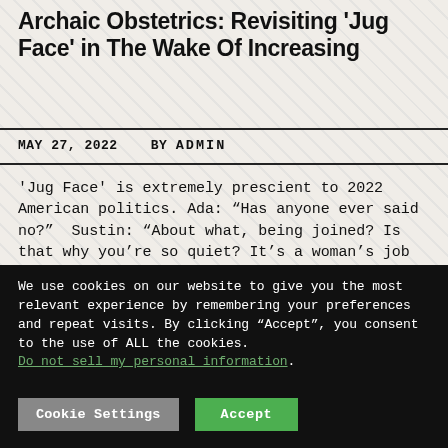Archaic Obstetrics: Revisiting 'Jug Face' in The Wake Of Increasing
MAY 27, 2022   BY ADMIN
'Jug Face' is extremely prescient to 2022 American politics. Ada: “Has anyone ever said no?”  Sustin: “About what, being joined? Is that why you’re so quiet? It’s a woman’s job to have babies, you gotta be joined to do that.” Ada: “Is that all I’m good for?”
We use cookies on our website to give you the most relevant experience by remembering your preferences and repeat visits. By clicking “Accept”, you consent to the use of ALL the cookies. Do not sell my personal information.